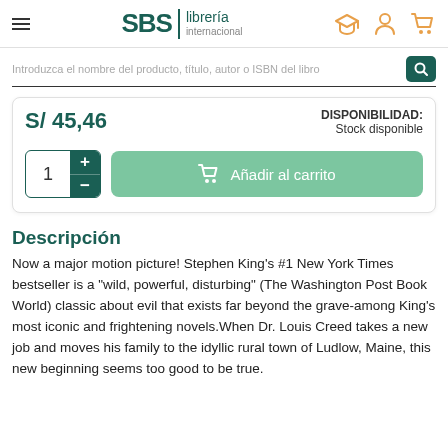[Figure (logo): SBS Librería Internacional logo with hamburger menu and navigation icons (graduation cap, person, cart)]
Introduzca el nombre del producto, título, autor o ISBN del libro
S/ 45,46
DISPONIBILIDAD: Stock disponible
1
Añadir al carrito
Descripción
Now a major motion picture! Stephen King's #1 New York Times bestseller is a "wild, powerful, disturbing" (The Washington Post Book World) classic about evil that exists far beyond the grave-among King's most iconic and frightening novels.When Dr. Louis Creed takes a new job and moves his family to the idyllic rural town of Ludlow, Maine, this new beginning seems too good to be true.